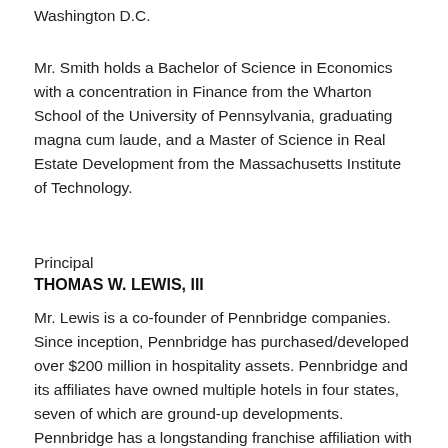Washington D.C.
Mr. Smith holds a Bachelor of Science in Economics with a concentration in Finance from the Wharton School of the University of Pennsylvania, graduating magna cum laude, and a Master of Science in Real Estate Development from the Massachusetts Institute of Technology.
Principal
THOMAS W. LEWIS, III
Mr. Lewis is a co-founder of Pennbridge companies. Since inception, Pennbridge has purchased/developed over $200 million in hospitality assets. Pennbridge and its affiliates have owned multiple hotels in four states, seven of which are ground-up developments. Pennbridge has a longstanding franchise affiliation with Marriott International